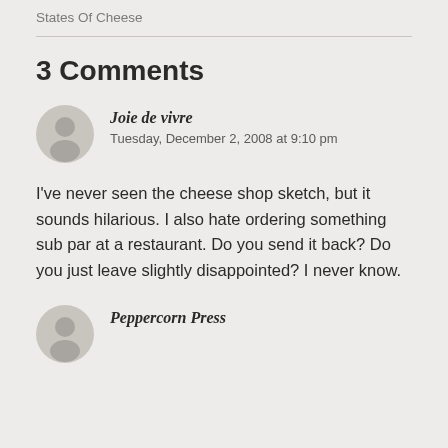States Of Cheese
3 Comments
Joie de vivre
Tuesday, December 2, 2008 at 9:10 pm
I've never seen the cheese shop sketch, but it sounds hilarious. I also hate ordering something sub par at a restaurant. Do you send it back? Do you just leave slightly disappointed? I never know.
Peppercorn Press